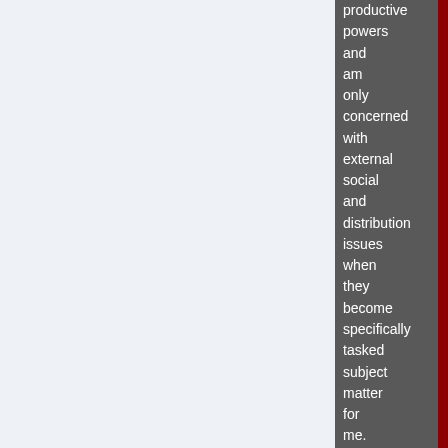productive powers and am only concerned with external social and distribution issues when they become specifically tasked subject matter for me. Prior to that.